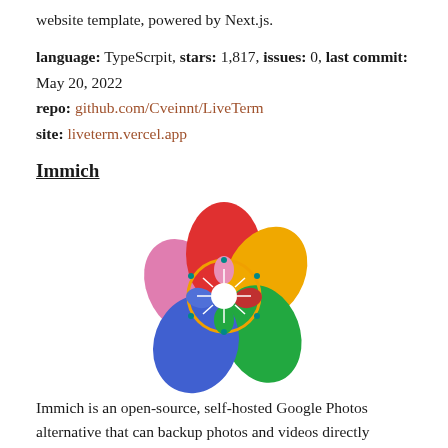website template, powered by Next.js.
language: TypeScrpit, stars: 1,817, issues: 0, last commit: May 20, 2022
repo: github.com/Cveinnt/LiveTerm
site: liveterm.vercel.app
Immich
[Figure (logo): Immich logo: a colorful flower-like emblem with petals in red, orange/yellow, green, blue, and pink, with a decorative circular center containing smaller floral elements.]
Immich is an open-source, self-hosted Google Photos alternative that can backup photos and videos directly